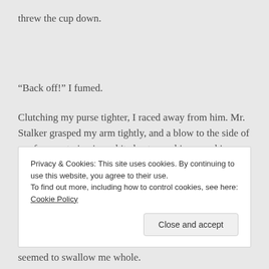threw the cup down.
“Back off!” I fumed.
Clutching my purse tighter, I raced away from him. Mr. Stalker grasped my arm tightly, and a blow to the side of my face sent piercing white heat scorching my skin.
The only problem about the strike, I never saw him lift a
Privacy & Cookies: This site uses cookies. By continuing to use this website, you agree to their use.
To find out more, including how to control cookies, see here: Cookie Policy
seemed to swallow me whole.